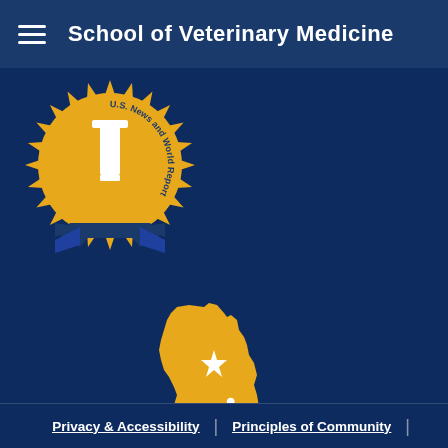School of Veterinary Medicine
[Figure (logo): US News and World Report award badge/ribbon in blue and gold with number 1]
[Figure (logo): California state silhouette in gold with a star, overlaid with 'Aggies' in white script text]
Privacy & Accessibility | Principles of Community |